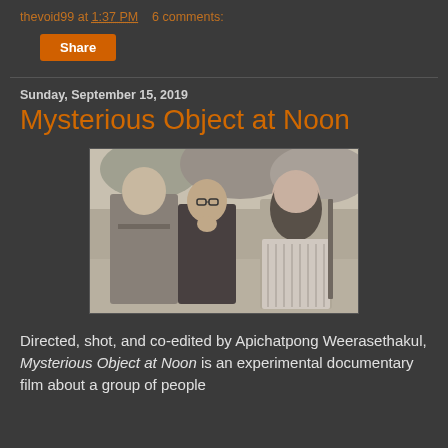thevoid99 at 1:37 PM   6 comments:
Share
Sunday, September 15, 2019
Mysterious Object at Noon
[Figure (photo): Black and white photo of three people outdoors: a man in uniform on the left, a man with glasses in the middle, and a woman on the right holding something.]
Directed, shot, and co-edited by Apichatpong Weerasethakul, Mysterious Object at Noon is an experimental documentary film about a group of people